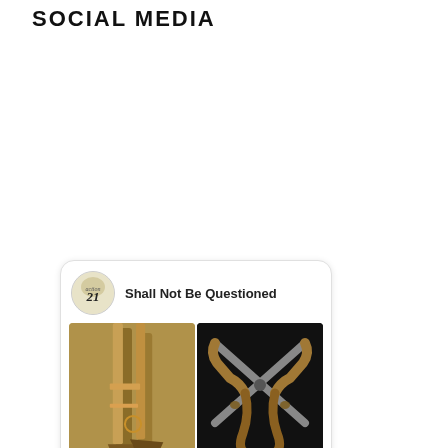SOCIAL MEDIA
[Figure (screenshot): Pinterest card widget for 'Shall Not Be Questioned' account showing three antique firearm photos and a Follow On Pinterest button]